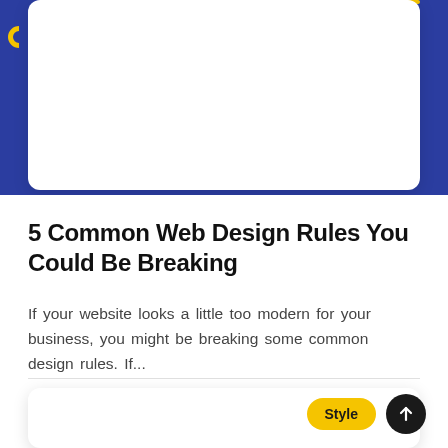[Figure (screenshot): Partially visible white card with yellow top bar and yellow circle arc on left edge, on blue background]
5 Common Web Design Rules You Could Be Breaking
If your website looks a little too modern for your business, you might be breaking some common design rules. If...
[Figure (screenshot): Partially visible white card at the bottom with a yellow 'Style' badge and a dark circular up-arrow button]